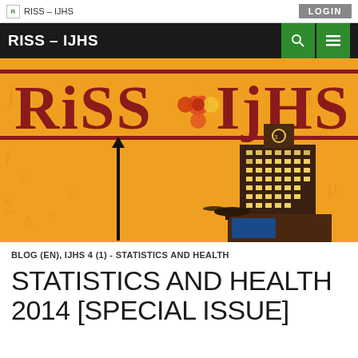RISS – IJHS | LOGIN
RISS – IJHS
[Figure (illustration): RISS IJHS journal cover illustration with orange/yellow background, decorative math symbols, large red serif RISS IJHS logo with a flower/clover icon, a dark stylized skyscraper building with illuminated windows, a helicopter, and a black vertical arrow on the left side.]
BLOG (EN), IJHS 4 (1) - STATISTICS AND HEALTH
STATISTICS AND HEALTH 2014 [SPECIAL ISSUE]